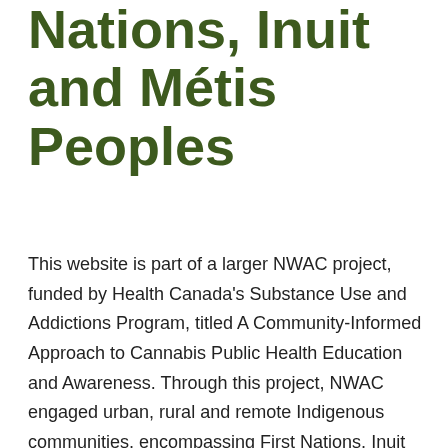Nations, Inuit and Métis Peoples
This website is part of a larger NWAC project, funded by Health Canada's Substance Use and Addictions Program, titled A Community-Informed Approach to Cannabis Public Health Education and Awareness. Through this project, NWAC engaged urban, rural and remote Indigenous communities, encompassing First Nations, Inuit and Métis to identify current awareness and priorities of Indigenous women and gender-